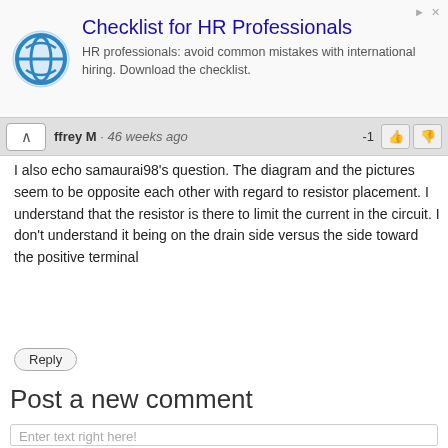[Figure (screenshot): Advertisement banner: logo (blue circle with white airplane), title 'Checklist for HR Professionals', description 'HR professionals: avoid common mistakes with international hiring. Download the checklist.']
ffrey M · 46 weeks ago   -1
I also echo samaurai98's question. The diagram and the pictures seem to be opposite each other with regard to resistor placement. I understand that the resistor is there to limit the current in the circuit. I don't understand it being on the drain side versus the side toward the positive terminal
Reply
Post a new comment
Enter text right here!
Comment as a Guest, or login: